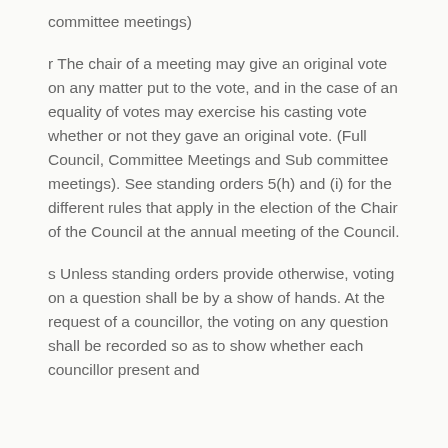committee meetings)
r The chair of a meeting may give an original vote on any matter put to the vote, and in the case of an equality of votes may exercise his casting vote whether or not they gave an original vote. (Full Council, Committee Meetings and Sub committee meetings). See standing orders 5(h) and (i) for the different rules that apply in the election of the Chair of the Council at the annual meeting of the Council.
s Unless standing orders provide otherwise, voting on a question shall be by a show of hands. At the request of a councillor, the voting on any question shall be recorded so as to show whether each councillor present and